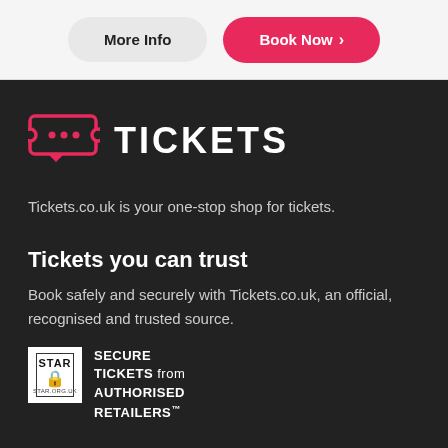More Info
Book Now ›
[Figure (logo): Tickets.co.uk logo with red ticket icon and white TICKETS text on dark background]
Tickets.co.uk is your one-stop shop for tickets.
Tickets you can trust
Book safely and securely with Tickets.co.uk, an official, recognised and trusted source.
[Figure (logo): STAR badge - Secure Tickets from Authorised Retailers logo]